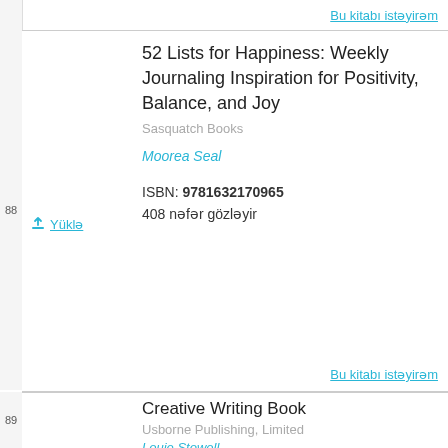Bu kitabı istəyirəm
52 Lists for Happiness: Weekly Journaling Inspiration for Positivity, Balance, and Joy
Sasquatch Books
Moorea Seal
ISBN: 9781632170965
408 nəfər gözləyir
Bu kitabı istəyirəm
Creative Writing Book
Usborne Publishing, Limited
Louie Stowell